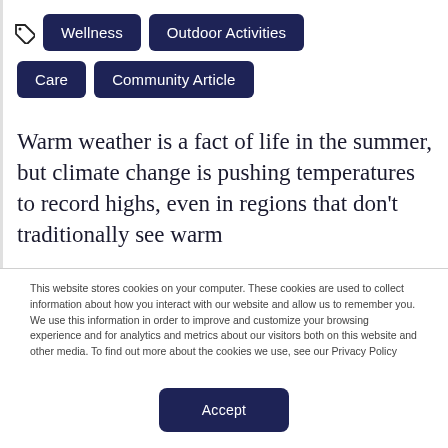Wellness
Outdoor Activities
Care
Community Article
Warm weather is a fact of life in the summer, but climate change is pushing temperatures to record highs, even in regions that don't traditionally see warm
This website stores cookies on your computer. These cookies are used to collect information about how you interact with our website and allow us to remember you. We use this information in order to improve and customize your browsing experience and for analytics and metrics about our visitors both on this website and other media. To find out more about the cookies we use, see our Privacy Policy
Accept